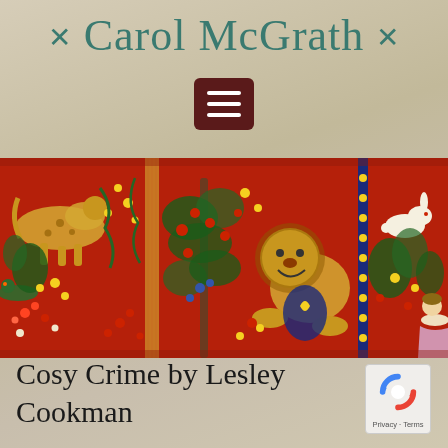❊ Carol McGrath ❊
[Figure (illustration): Hamburger menu icon button — dark maroon rounded square with three white horizontal lines]
[Figure (photo): Horizontal strip of a medieval tapestry (Lady and the Unicorn style) showing a lion, various animals, and floral motifs on a red background with blue and gold details]
Cosy Crime by Lesley Cookman
[Figure (logo): Google reCAPTCHA badge with circular arrow logo and Privacy - Terms text]